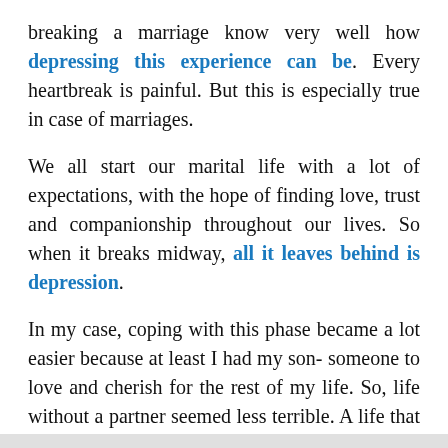breaking a marriage know very well how depressing this experience can be. Every heartbreak is painful. But this is especially true in case of marriages.
We all start our marital life with a lot of expectations, with the hope of finding love, trust and companionship throughout our lives. So when it breaks midway, all it leaves behind is depression.
In my case, coping with this phase became a lot easier because at least I had my son- someone to love and cherish for the rest of my life. So, life without a partner seemed less terrible. A life that still had some purpose left- to raise another human being carved from my own flesh and blood.